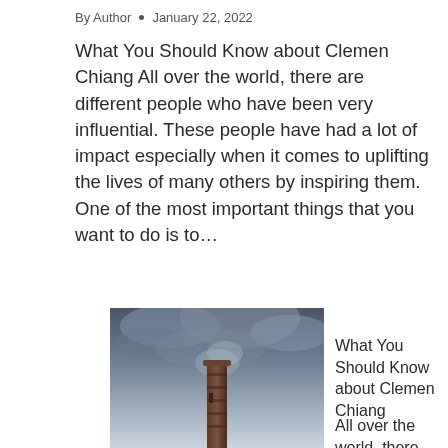By Author • January 22, 2022
What You Should Know about Clemen Chiang All over the world, there are different people who have been very influential. These people have had a lot of impact especially when it comes to uplifting the lives of many others by inspiring them. One of the most important things that you want to do is to…
[Figure (photo): A tall industrial chimney or brick tower seen from below against a cloudy, dramatic sky with smoke or clouds around it.]
What You Should Know about Clemen Chiang
All over the world, there